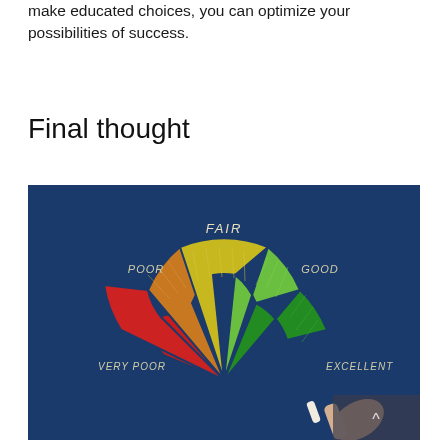make educated choices, you can optimize your possibilities of success.
Final thought
[Figure (photo): A credit score gauge drawn on a chalkboard showing five segments labeled VERY POOR (red), POOR (orange), FAIR (yellow), GOOD (light green), and EXCELLENT (dark green), with a hand holding chalk pointing to the EXCELLENT segment.]